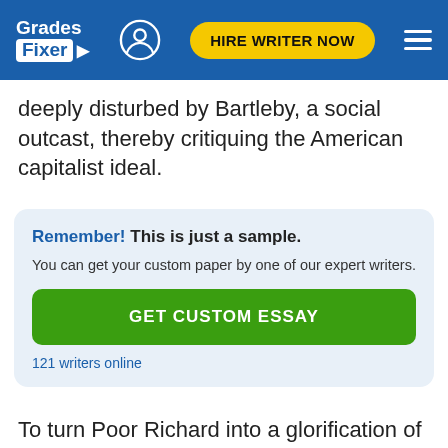Grades Fixer — HIRE WRITER NOW
deeply disturbed by Bartleby, a social outcast, thereby critiquing the American capitalist ideal.
Remember! This is just a sample.
You can get your custom paper by one of our expert writers.
GET CUSTOM ESSAY
121 writers online
To turn Poor Richard into a glorification of American ideals, Franklin casts him as a model citizen who earns the admiration of his countrymen. The